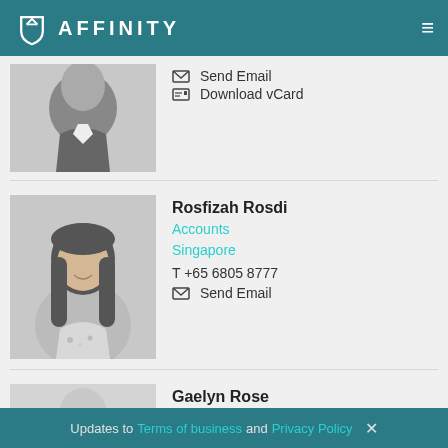Affinity - company website header
[Figure (photo): Partial photo of a man in a suit, black and white, cropped at top]
Send Email
Download vCard
[Figure (photo): Photo of Rosfizah Rosdi, a young woman with long dark hair, smiling, black and white]
Rosfizah Rosdi
Accounts
Singapore
T +65 6805 8777
Send Email
[Figure (photo): Partial photo of Gaelyn Rose, light gray background, black and white]
Gaelyn Rose
LNG
Updates to Terms of business and Privacy Policy ×